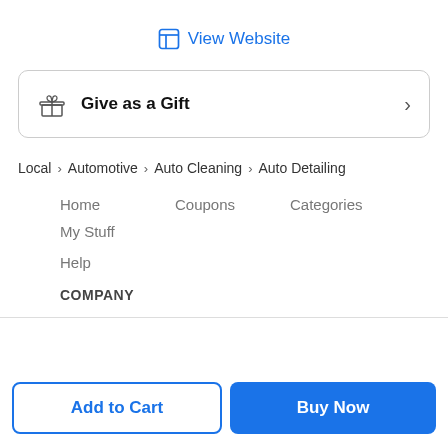View Website
Give as a Gift
Local > Automotive > Auto Cleaning > Auto Detailing
Home
Coupons
Categories
My Stuff
Help
COMPANY
Add to Cart
Buy Now